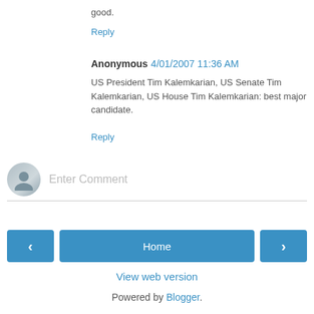good.
Reply
Anonymous 4/01/2007 11:36 AM
US President Tim Kalemkarian, US Senate Tim Kalemkarian, US House Tim Kalemkarian: best major candidate.
Reply
Enter Comment
Home
View web version
Powered by Blogger.